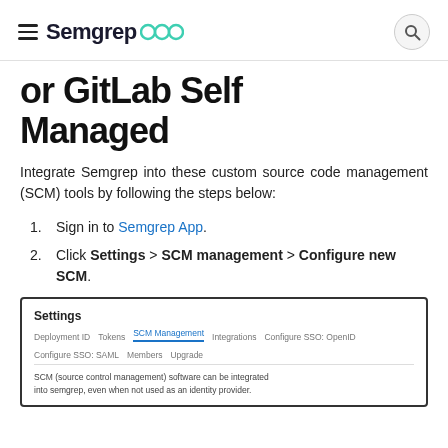Semgrep [logo]
or GitLab Self Managed
Integrate Semgrep into these custom source code management (SCM) tools by following the steps below:
1. Sign in to Semgrep App.
2. Click Settings > SCM management > Configure new SCM.
[Figure (screenshot): Screenshot of Semgrep App Settings page showing SCM Management tab selected, with tabs: Deployment ID, Tokens, SCM Management, Integrations, Configure SSO: OpenID, Configure SSO: SAML, Members, Upgrade. Body text reads: SCM (source control management) software can be integrated into semgrep, even when not used as an identity provider.]